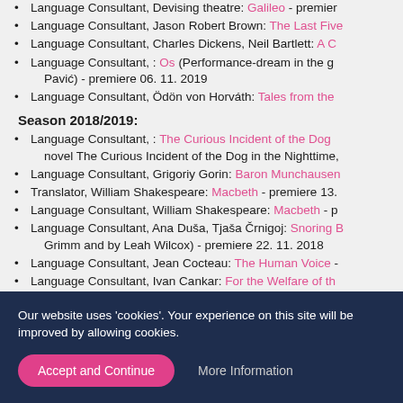Language Consultant, Devising theatre: Galileo - premiere...
Language Consultant, Jason Robert Brown: The Last Five...
Language Consultant, Charles Dickens, Neil Bartlett: A C...
Language Consultant, : Os (Performance-dream in the g... Pavić) - premiere 06. 11. 2019
Language Consultant, Ödön von Horváth: Tales from the...
Season 2018/2019:
Language Consultant, : The Curious Incident of the Dog... novel The Curious Incident of the Dog in the Nighttime,...
Language Consultant, Grigoriy Gorin: Baron Munchausen...
Translator, William Shakespeare: Macbeth - premiere 13....
Language Consultant, William Shakespeare: Macbeth - p...
Language Consultant, Ana Duša, Tjaša Črnigoj: Snoring B... Grimm and by Leah Wilcox) - premiere 22. 11. 2018
Language Consultant, Jean Cocteau: The Human Voice -...
Language Consultant, Ivan Cankar: For the Welfare of th...
Season 2017/2018:
Language Consultant, Dušan Jovanović: Exhibitionist - pr...
Language Consultant, Euripides: The Trojan Women - pre...
Language Consultant, Jure Karas: Realists - premiere 22....
Language Consultant, Anton Pavlovich Chekhov: The Sea...
Our website uses 'cookies'. Your experience on this site will be improved by allowing cookies.